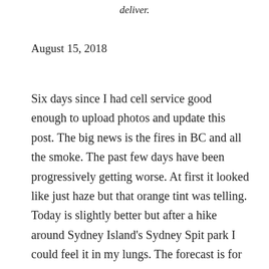deliver.
August 15, 2018
Six days since I had cell service good enough to upload photos and update this post. The big news is the fires in BC and all the smoke. The past few days have been progressively getting worse. At first it looked like just haze but that orange tint was telling. Today is slightly better but after a hike around Sydney Island's Sydney Spit park I could feel it in my lungs. The forecast is for some improvement by week's end but then more of the same next week. I'm seriously considering calling it quits early and heading home. The fires are all over BC and I